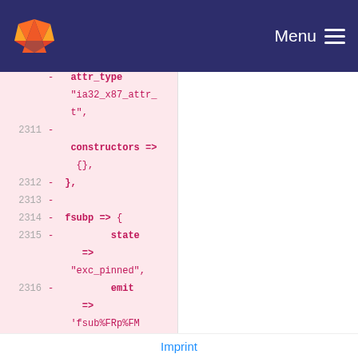GitLab navigation bar with logo and Menu
Code diff view showing lines 2311-2318 (left panel) and 2293-2294 (right panel) with removed lines highlighted in pink. Left panel shows constructors, fsubp, state, emit, latency, attr_type fields. Right panel shows latency and attr_type.
Imprint